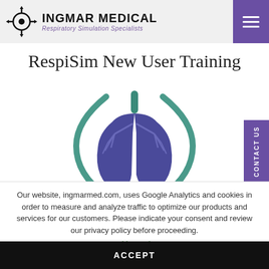IngMar Medical — Respiratory Simulation Specialists
RespiSim New User Training
[Figure (illustration): Medical illustration of human lungs in purple/indigo with bronchial tree branches, flanked by two teal curved parenthesis-like shapes, on a white background. A teal bronchial trunk extends upward from the lungs.]
Our website, ingmarmed.com, uses Google Analytics and cookies in order to measure and analyze traffic to optimize our products and services for our customers. Please indicate your consent and review our privacy policy before proceeding.
Cookie settings
ACCEPT